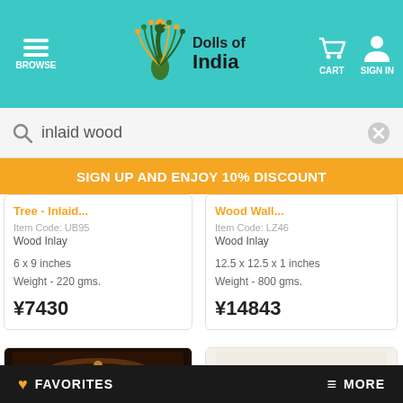BROWSE | Dolls of India | CART | SIGN IN
inlaid wood
SIGN UP AND ENJOY 10% DISCOUNT
Tree - Inlaid...
Item Code: UB95
Wood Inlay
6 x 9 inches
Weight - 220 gms.
¥7430
Wood Wall...
Item Code: LZ46
Wood Inlay
12.5 x 12.5 x 1 inches
Weight - 800 gms.
¥14843
[Figure (photo): Dark wood carved panel with decorative gold element]
[Figure (photo): Brown bowl with decorative inlay pattern]
FAVORITES | MORE